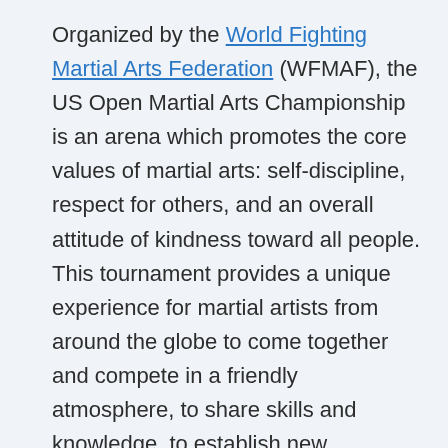Organized by the World Fighting Martial Arts Federation (WFMAF), the US Open Martial Arts Championship is an arena which promotes the core values of martial arts: self-discipline, respect for others, and an overall attitude of kindness toward all people. This tournament provides a unique experience for martial artists from around the globe to come together and compete in a friendly atmosphere, to share skills and knowledge, to establish new friendships with those who share the same core values of martial arts, and to express these core values through actions. Come and join us on October 1st and experience for yourself martial spirit hand in hand with one of the premier martial arts tournament events in the East Coast of the United States.